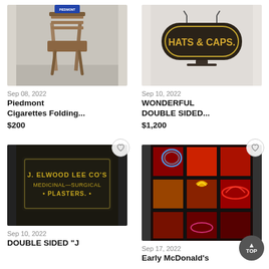[Figure (photo): Vintage wooden folding chair with Piedmont Cigarettes branding, photographed against a gray background]
Sep 08, 2022
Piedmont Cigarettes Folding...
$200
[Figure (photo): Dark oval hanging sign reading HATS & CAPS. in yellow lettering on dark brown background]
Sep 10, 2022
WONDERFUL DOUBLE SIDED...
$1,200
[Figure (photo): Antique J. Elwood Lee Co's Medicinal and Surgical Plasters sign with yellow text on dark background]
Sep 10, 2022
DOUBLE SIDED "J
[Figure (photo): Collection of early McDonald's neon signs displayed in a grid cabinet with red background, showing various colorful neon character and logo signs]
Sep 17, 2022
Early McDonald's